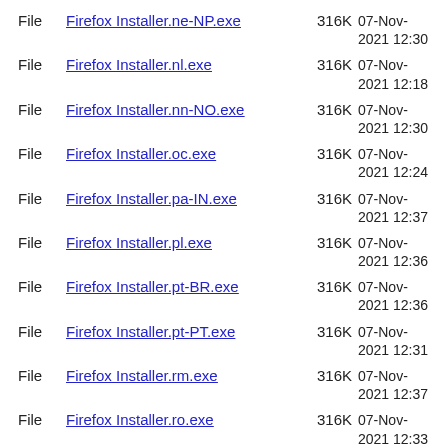File  Firefox Installer.ne-NP.exe  316K  07-Nov-2021 12:30
File  Firefox Installer.nl.exe  316K  07-Nov-2021 12:18
File  Firefox Installer.nn-NO.exe  316K  07-Nov-2021 12:30
File  Firefox Installer.oc.exe  316K  07-Nov-2021 12:24
File  Firefox Installer.pa-IN.exe  316K  07-Nov-2021 12:37
File  Firefox Installer.pl.exe  316K  07-Nov-2021 12:36
File  Firefox Installer.pt-BR.exe  316K  07-Nov-2021 12:36
File  Firefox Installer.pt-PT.exe  316K  07-Nov-2021 12:31
File  Firefox Installer.rm.exe  316K  07-Nov-2021 12:37
File  Firefox Installer.ro.exe  316K  07-Nov-2021 12:33
File  Firefox Installer.ru.exe  316K  07-Nov-2021 12:36